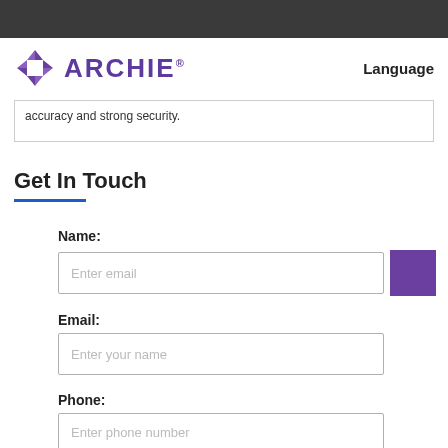ARCHIE® Language
accuracy and strong security.
Get In Touch
Name:
Enter email
Email:
Enter your name
Phone:
Enter phone number